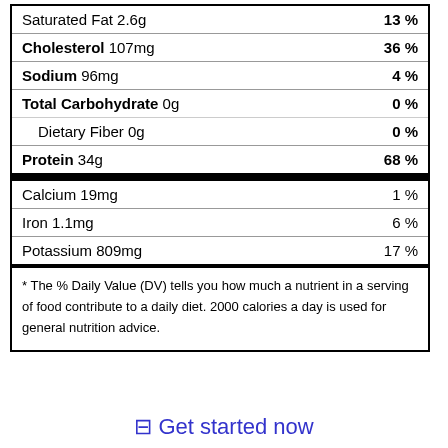| Nutrient | % Daily Value |
| --- | --- |
| Saturated Fat 2.6g | 13 % |
| Cholesterol 107mg | 36 % |
| Sodium 96mg | 4 % |
| Total Carbohydrate 0g | 0 % |
| Dietary Fiber 0g | 0 % |
| Protein 34g | 68 % |
| Calcium 19mg | 1 % |
| Iron 1.1mg | 6 % |
| Potassium 809mg | 17 % |
* The % Daily Value (DV) tells you how much a nutrient in a serving of food contribute to a daily diet. 2000 calories a day is used for general nutrition advice.
⊟ Get started now